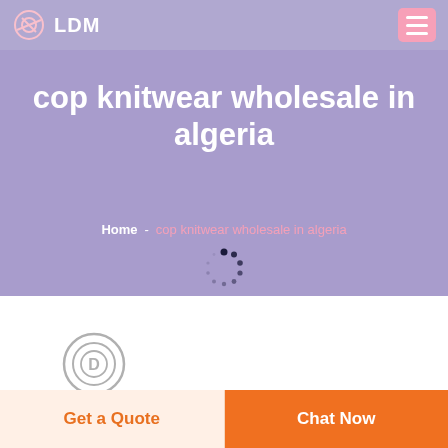LDM
cop knitwear wholesale in algeria
Home  -  cop knitwear wholesale in algeria
[Figure (logo): Circular D letter logo icon in gray outline style]
Get a Quote
Chat Now